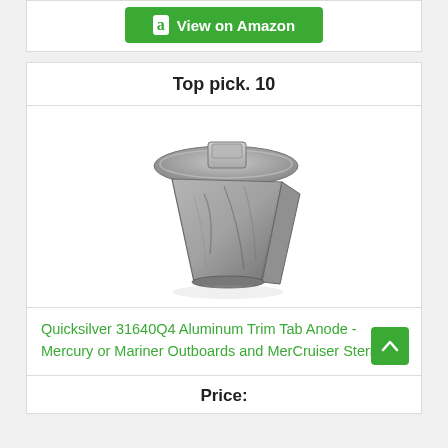[Figure (other): Amazon 'View on Amazon' green button with Amazon logo 'a' icon]
Top pick. 10
[Figure (photo): Photo of a Quicksilver 31640Q4 Aluminum Trim Tab Anode, a silver/grey metallic wedge-shaped piece with a mounting plate on top]
Quicksilver 31640Q4 Aluminum Trim Tab Anode - Mercury or Mariner Outboards and MerCruiser Stern.
Price: